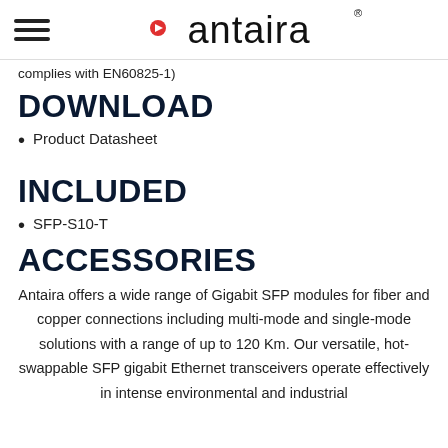antaira
complies with EN60825-1)
DOWNLOAD
Product Datasheet
INCLUDED
SFP-S10-T
ACCESSORIES
Antaira offers a wide range of Gigabit SFP modules for fiber and copper connections including multi-mode and single-mode solutions with a range of up to 120 Km. Our versatile, hot-swappable SFP gigabit Ethernet transceivers operate effectively in intense environmental and industrial